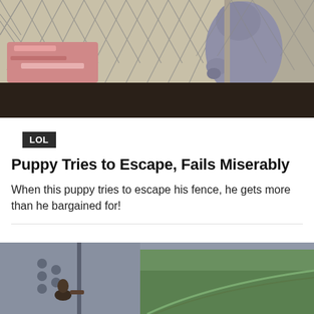[Figure (photo): A puppy or dog attempting to climb over or escape through a metal chain-link fence/kennel gate, with another dog visible inside behind the fence]
LOL
Puppy Tries to Escape, Fails Miserably
When this puppy tries to escape his fence, he gets more than he bargained for!
[Figure (photo): An aerial or elevated view showing a person near a large vehicle or structure door, with a green field/runway visible below from height]